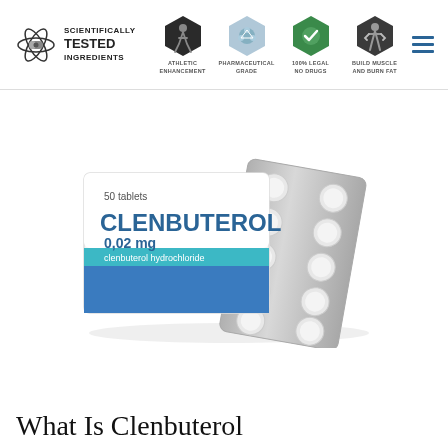[Figure (logo): Scientifically Tested Ingredients logo with atomic/pill icon and text, followed by four hexagonal badge icons: Athletic Enhancement, Pharmaceutical Grade, 100% Legal No Drugs, Build Muscle and Burn Fat, plus hamburger menu icon]
[Figure (photo): Clenbuterol medication box labeled '50 tablets CLENBUTEROL 0,02 mg clenbuterol hydrochloride' with a blister pack of white tablets leaning behind it]
What Is Clenbuterol